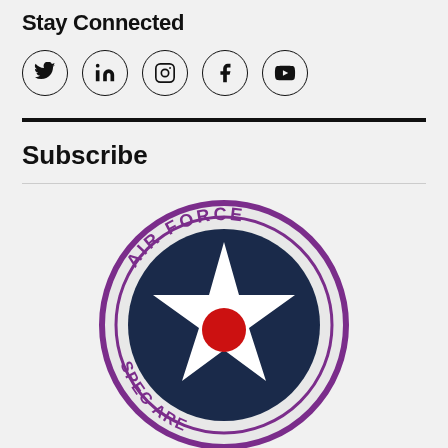Stay Connected
[Figure (other): Social media icons row: Twitter (bird), LinkedIn (in), Instagram (camera), Facebook (f), YouTube (play button), each in a circle outline]
Subscribe
[Figure (logo): Air Force Special Warfare circular seal/logo with purple outer ring text reading 'AIR FORCE' at top and 'SPEC...ARE' (Special Warfare) at bottom, dark navy blue inner circle with white 5-pointed star and red dot in center]